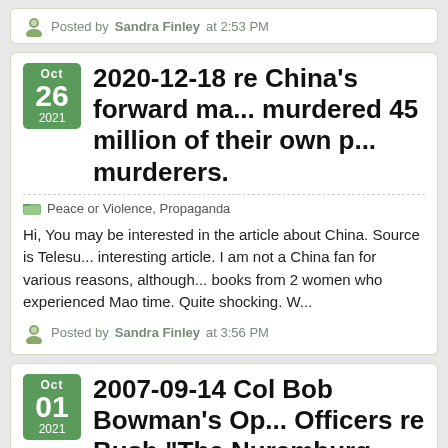Posted by Sandra Finley at 2:53 PM
2020-12-18 re China's forward ma... murdered 45 million of their own p... murderers.
Peace or Violence, Propaganda
Hi, You may be interested in the article about China. Source is Telesu... interesting article. I am not a China fan for various reasons, although... books from 2 women who experienced Mao time. Quite shocking. W...
Posted by Sandra Finley at 3:56 PM
2007-09-14 Col Bob Bowman's Op... Officers re Bush "The Nuremburg...